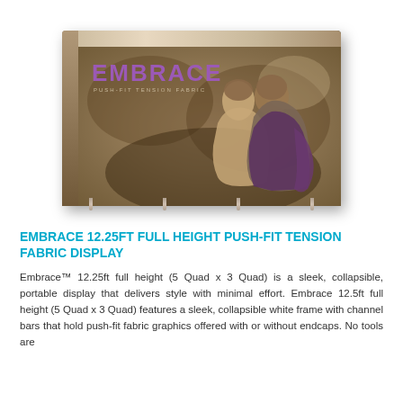[Figure (photo): Embrace push-fit tension fabric display trade show exhibit showing a rectangular frame with sepia-toned photo of a couple embracing, with purple EMBRACE logo text on the display surface.]
EMBRACE 12.25FT FULL HEIGHT PUSH-FIT TENSION FABRIC DISPLAY
Embrace™ 12.25ft full height (5 Quad x 3 Quad) is a sleek, collapsible, portable display that delivers style with minimal effort. Embrace 12.5ft full height (5 Quad x 3 Quad) features a sleek, collapsible white frame with channel bars that hold push-fit fabric graphics offered with or without endcaps. No tools are